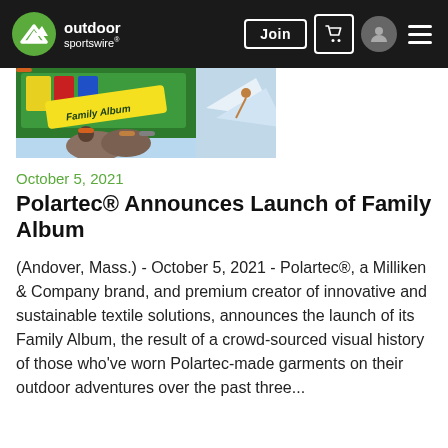outdoor sportswire — Join
[Figure (photo): Polartec Family Album promotional image showing people outdoors wrapped in fleece with a colorful Family Album banner/poster in the background]
October 5, 2021
Polartec® Announces Launch of Family Album
(Andover, Mass.) - October 5, 2021 - Polartec®, a Milliken & Company brand, and premium creator of innovative and sustainable textile solutions, announces the launch of its Family Album, the result of a crowd-sourced visual history of those who've worn Polartec-made garments on their outdoor adventures over the past three...